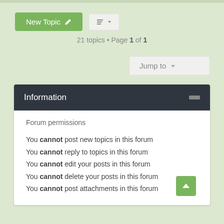[Figure (screenshot): Green 'New Topic' button with pencil icon, and sort button with dropdown arrow]
21 topics • Page 1 of 1
[Figure (screenshot): 'Jump to' dropdown button]
Information
Forum permissions
You cannot post new topics in this forum
You cannot reply to topics in this forum
You cannot edit your posts in this forum
You cannot delete your posts in this forum
You cannot post attachments in this forum